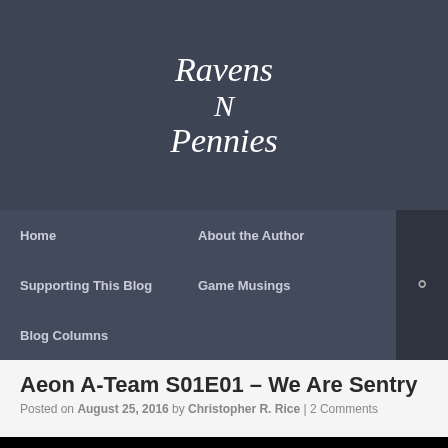[Figure (illustration): Ravens N Pennies blog header banner with stylized cursive text over a dark blue-grey background with faint imagery]
Home | About the Author | Supporting This Blog | Game Musings | Blog Columns
Aeon A-Team S01E01 – We Are Sentry
Posted on August 25, 2016 by Christopher R. Rice | 2 Comments
[Figure (screenshot): Black thumbnail image at bottom of page]